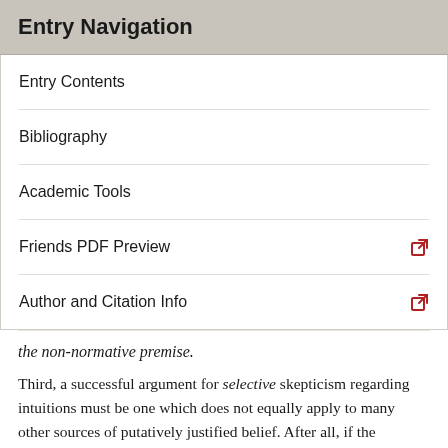Entry Navigation
Entry Contents
Bibliography
Academic Tools
Friends PDF Preview
Author and Citation Info
the non-normative premise.
Third, a successful argument for selective skepticism regarding intuitions must be one which does not equally apply to many other sources of putatively justified belief. After all, if the argument at issue would also justify skepticism regarding perceptual belief and/or memorial and/or introspective belief, it shows nothing distinctively problematic about intuitions or beliefs based upon them. Call this constraint on a successful argument, “the local skepticism constraint.”
Finally, (a) the justification for the argument must be...